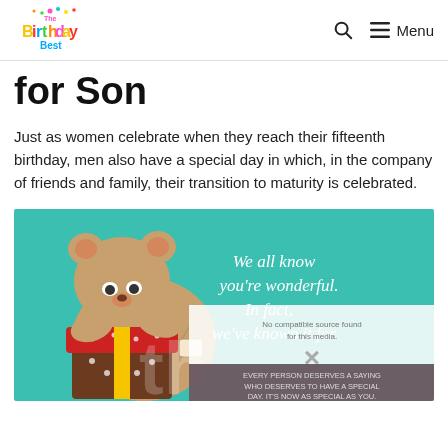The Birthday Best — Menu
for Son
Just as women celebrate when they reach their fifteenth birthday, men also have a special day in which, in the company of friends and family, their transition to maturity is celebrated.
[Figure (illustration): Greeting card image with a cartoon teddy bear sitting on a gift box with stars, teal background with white cursive text reading 'We all know you're wonderful. In fact, we've known it for', with a birthday number overlay and a media-not-found popup overlay. The popup contains crossed text about PERSON WHO DESERVES TO HAVE A SPECIAL DAY, IT'S NOW AS SPECIAL AS YOU.]